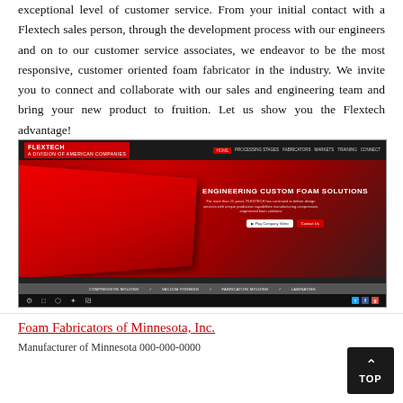exceptional level of customer service. From your initial contact with a Flextech sales person, through the development process with our engineers and on to our customer service associates, we endeavor to be the most responsive, customer oriented foam fabricator in the industry. We invite you to connect and collaborate with our sales and engineering team and bring your new product to fruition. Let us show you the Flextech advantage!
[Figure (screenshot): Screenshot of the Flextech website showing a hero image of red foam being handled, with navigation bar, 'ENGINEERING CUSTOM FOAM SOLUTIONS' headline, sub-navigation with COMPRESSION MOLDING, VACUUM FORMING, FABRICATION MOLDING, LAMINATING, and bottom icon bar.]
Foam Fabricators of Minnesota, Inc.
Manufacturer of Minnesota 000-000-0000